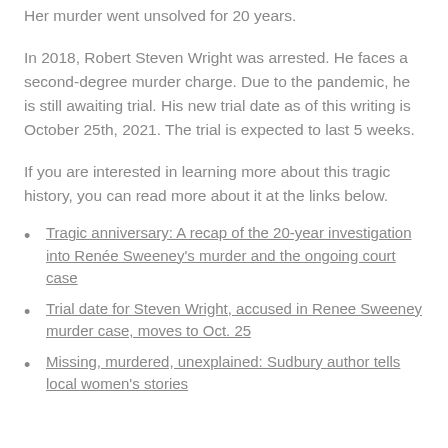Her murder went unsolved for 20 years.
In 2018, Robert Steven Wright was arrested. He faces a second-degree murder charge. Due to the pandemic, he is still awaiting trial. His new trial date as of this writing is October 25th, 2021. The trial is expected to last 5 weeks.
If you are interested in learning more about this tragic history, you can read more about it at the links below.
Tragic anniversary: A recap of the 20-year investigation into Renée Sweeney's murder and the ongoing court case
Trial date for Steven Wright, accused in Renee Sweeney murder case, moves to Oct. 25
Missing, murdered, unexplained: Sudbury author tells local women's stories